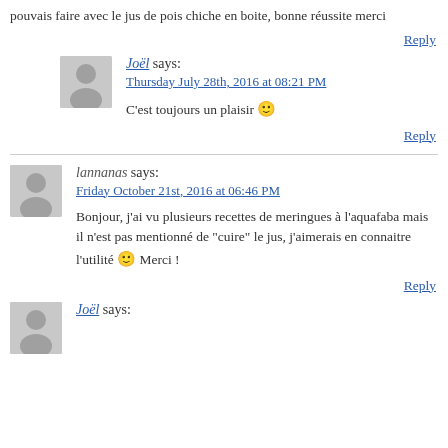pouvais faire avec le jus de pois chiche en boite, bonne réussite merci
Reply
Joël says:
Thursday July 28th, 2016 at 08:21 PM
C'est toujours un plaisir 🙂
Reply
lannanas says:
Friday October 21st, 2016 at 06:46 PM
Bonjour, j'ai vu plusieurs recettes de meringues à l'aquafaba mais il n'est pas mentionné de "cuire" le jus, j'aimerais en connaitre l'utilité 🙂 Merci !
Reply
Joël says: